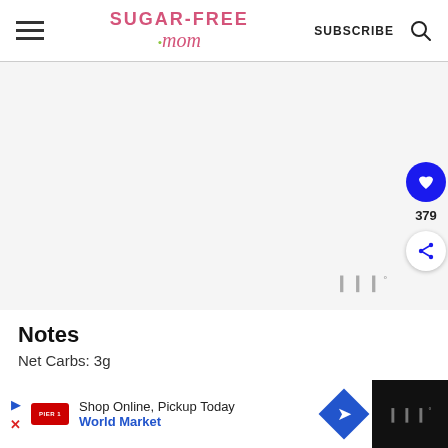Sugar-Free Mom - SUBSCRIBE
[Figure (other): Gray advertisement placeholder area with Wistia watermark logo]
Notes
Net Carbs: 3g
Serving size is ⅓ cup or 50 grams.
[Figure (other): Bottom advertisement bar: Shop Online, Pickup Today - World Market with navigation arrow icon]